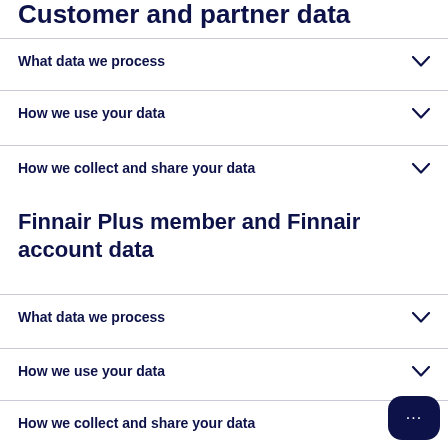Customer and partner data
What data we process
How we use your data
How we collect and share your data
Finnair Plus member and Finnair account data
What data we process
How we use your data
How we collect and share your data